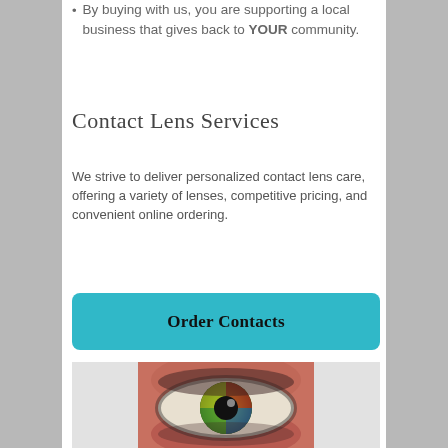By buying with us, you are supporting a local business that gives back to YOUR community.
Contact Lens Services
We strive to deliver personalized contact lens care, offering a variety of lenses, competitive pricing, and convenient online ordering.
Order Contacts
[Figure (photo): Close-up photograph of a human eye with colorful iris showing green, yellow, red and blue hues against a light background]